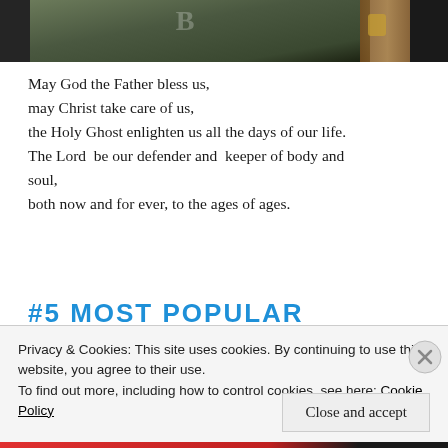[Figure (photo): Partial view of a green Bible or book cover with what appears to be wooden background, dark tones]
May God the Father bless us,
may Christ take care of us,
the Holy Ghost enlighten us all the days of our life.
The Lord be our defender and keeper of body and soul,
both now and for ever, to the ages of ages.
#5 MOST POPULAR
Privacy & Cookies: This site uses cookies. By continuing to use this website, you agree to their use.
To find out more, including how to control cookies, see here: Cookie Policy
Close and accept